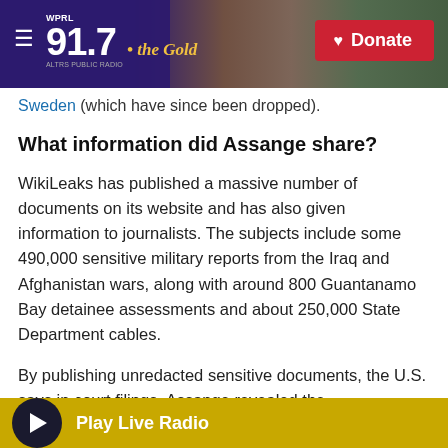WPRL 91.7 The Gold — Donate
Sweden (which have since been dropped).
What information did Assange share?
WikiLeaks has published a massive number of documents on its website and has also given information to journalists. The subjects include some 490,000 sensitive military reports from the Iraq and Afghanistan wars, along with around 800 Guantanamo Bay detainee assessments and about 250,000 State Department cables.
By publishing unredacted sensitive documents, the U.S. says in court filings, Assange revealed the
Play Live Radio